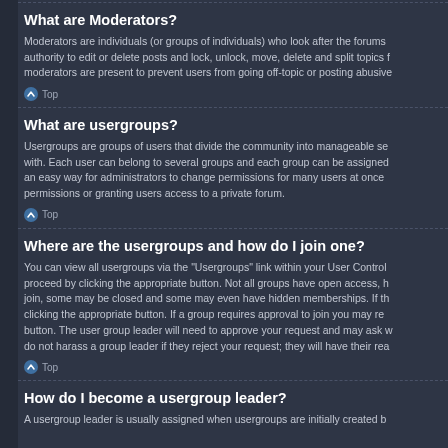What are Moderators?
Moderators are individuals (or groups of individuals) who look after the forums authority to edit or delete posts and lock, unlock, move, delete and split topics moderators are present to prevent users from going off-topic or posting abusive
What are usergroups?
Usergroups are groups of users that divide the community into manageable se with. Each user can belong to several groups and each group can be assigned an easy way for administrators to change permissions for many users at once permissions or granting users access to a private forum.
Where are the usergroups and how do I join one?
You can view all usergroups via the "Usergroups" link within your User Control proceed by clicking the appropriate button. Not all groups have open access, h join, some may be closed and some may even have hidden memberships. If th clicking the appropriate button. If a group requires approval to join you may re button. The user group leader will need to approve your request and may ask w do not harass a group leader if they reject your request; they will have their rea
How do I become a usergroup leader?
A usergroup leader is usually assigned when usergroups are initially created b